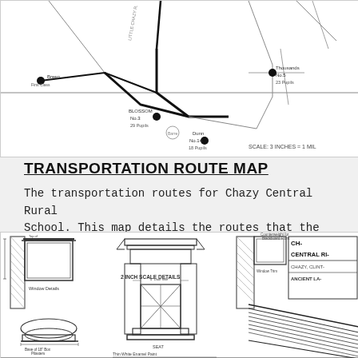[Figure (map): Transportation route map for Chazy Central Rural School showing roads and bus stops labeled with route numbers and pupil counts. Includes locations: Breen (First Class), Blossom No.3 (29 pupils), Dunn No.14 (18 pupils), Thousands No.5 (23 pupils), and a scale of 3 inches = 1 mile.]
TRANSPORTATION ROUTE MAP
The transportation routes for Chazy Central Rural School. This map details the routes that the school's fleet of buses and [...]
[Figure (engineering-diagram): Architectural engineering blueprints for Chazy Central Rural School showing 2-inch scale details of window details, seat design, base of pilasters, and ancient lamp details. Drawn for Chazy, Clinton area. Title block reads: CH... CENTRAL RI... CHAZY, CLINT... ANCIENT LA...]